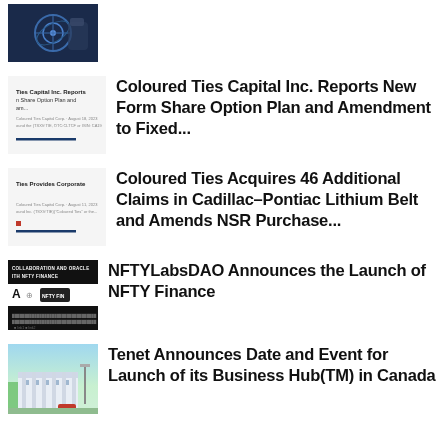[Figure (photo): Dark thumbnail showing a hand holding a device with tech/crypto imagery]
[Figure (screenshot): Document thumbnail for Coloured Ties Capital Inc. share option plan report]
Coloured Ties Capital Inc. Reports New Form Share Option Plan and Amendment to Fixed...
[Figure (screenshot): Document thumbnail for Coloured Ties corporate claims report]
Coloured Ties Acquires 46 Additional Claims in Cadillac-Pontiac Lithium Belt and Amends NSR Purchase...
[Figure (screenshot): Dark thumbnail for NFTYLabsDAO NFTY Finance launch announcement]
NFTYLabsDAO Announces the Launch of NFTY Finance
[Figure (photo): Photo thumbnail of a building/business hub for Tenet announcement]
Tenet Announces Date and Event for Launch of its Business Hub(TM) in Canada